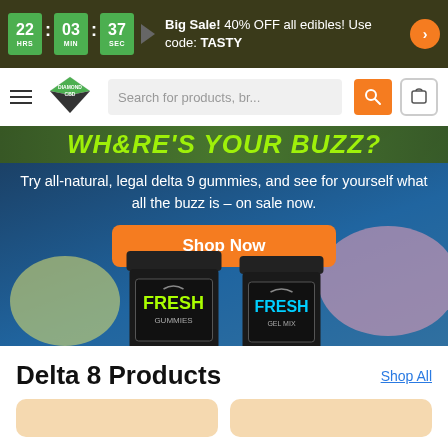Big Sale! 40% OFF all edibles! Use code: TASTY — Timer: 22 HRS : 03 MIN : 37 SEC
[Figure (screenshot): Diamond CBD logo with diamond shape and green/white colors]
Search for products, br...
[Figure (photo): Hero banner showing CBD gummy product jars labeled FRESH GUMMIES on a blue background with colorful blobs]
Try all-natural, legal delta 9 gummies, and see for yourself what all the buzz is – on sale now.
Shop Now
Delta 8 Products
Shop All